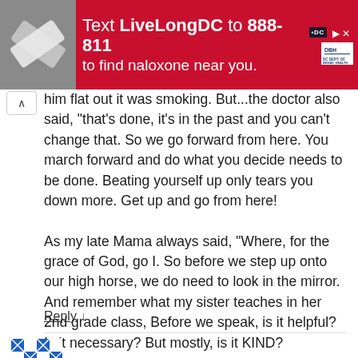[Figure (other): Advertisement banner: red background with photo of medical supplies and text 'Text LiveLongDC to 888-811 to find naloxone near you.' with DC and DBH logos]
him flat out it was smoking. But...the doctor also said, “that’s done, it’s in the past and you can’t change that. So we go forward from here. You march forward and do what you decide needs to be done. Beating yourself up only tears you down more. Get up and go from here!

As my late Mama always said, “Where, for the grace of God, go I. So before we step up onto our high horse, we do need to look in the mirror. And remember what my sister teaches in her 2nd grade class, Before we speak, is it helpful? Is it necessary? But mostly, is it KIND?
Reply ↓
The Joyful Quilter